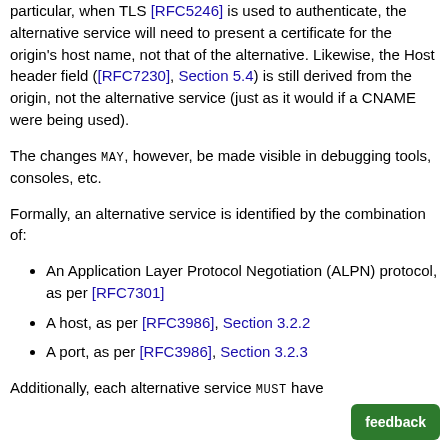particular, when TLS [RFC5246] is used to authenticate, the alternative service will need to present a certificate for the origin's host name, not that of the alternative. Likewise, the Host header field ([RFC7230], Section 5.4) is still derived from the origin, not the alternative service (just as it would if a CNAME were being used).
The changes MAY, however, be made visible in debugging tools, consoles, etc.
Formally, an alternative service is identified by the combination of:
An Application Layer Protocol Negotiation (ALPN) protocol, as per [RFC7301]
A host, as per [RFC3986], Section 3.2.2
A port, as per [RFC3986], Section 3.2.3
Additionally, each alternative service MUST have